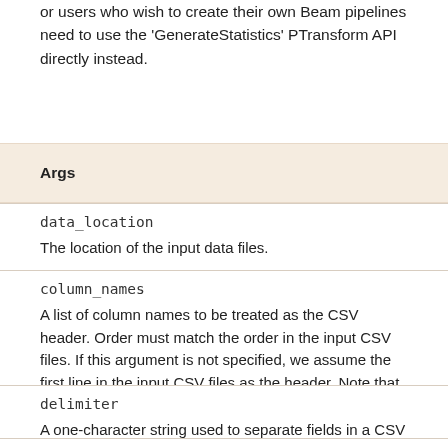or users who wish to create their own Beam pipelines need to use the 'GenerateStatistics' PTransform API directly instead.
Args
data_location
The location of the input data files.
column_names
A list of column names to be treated as the CSV header. Order must match the order in the input CSV files. If this argument is not specified, we assume the first line in the input CSV files as the header. Note that this option is valid only for 'csv' input file format.
delimiter
A one-character string used to separate fields in a CSV file.
output_path